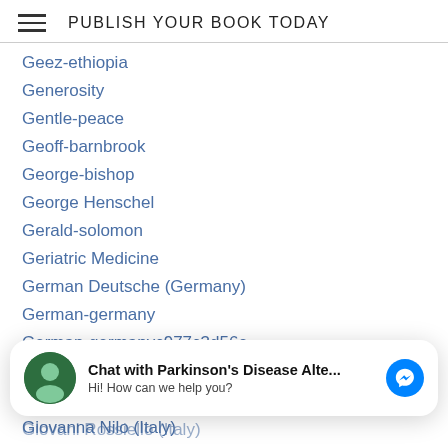PUBLISH YOUR BOOK TODAY
Geez-ethiopia
Generosity
Gentle-peace
Geoff-barnbrook
George-bishop
George Henschel
Gerald-solomon
Geriatric Medicine
German Deutsche (Germany)
German-germany
German-germanyc977c3d56e
Gerontologist
Getty Research Institute
Chat with Parkinson's Disease Alte... Hi! How can we help you?
Giovanna Nilo (Italy)